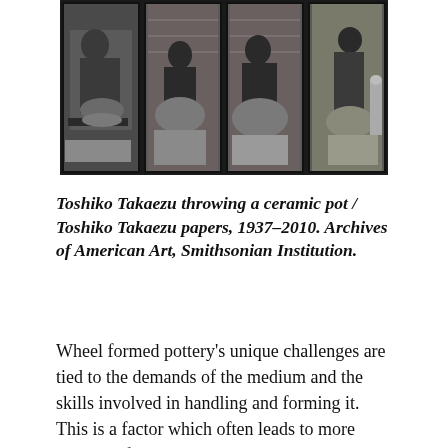[Figure (photo): Four black-and-white photographs arranged in a horizontal strip showing Toshiko Takaezu throwing a ceramic pot at a pottery wheel, with brick wall background.]
Toshiko Takaezu throwing a ceramic pot / Toshiko Takaezu papers, 1937–2010. Archives of American Art, Smithsonian Institution.
Wheel formed pottery's unique challenges are tied to the demands of the medium and the skills involved in handling and forming it. This is a factor which often leads to more subtle shifts and developments over time than might be registered in another artform, such as painting. Another factor which influences the way the potter thinks about her medium is the